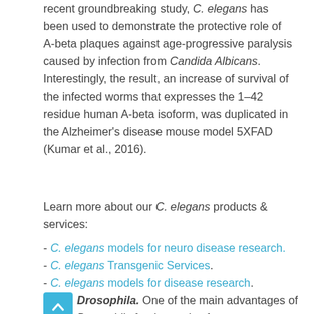recent groundbreaking study, C. elegans has been used to demonstrate the protective role of A-beta plaques against age-progressive paralysis caused by infection from Candida Albicans. Interestingly, the result, an increase of survival of the infected worms that expresses the 1–42 residue human A-beta isoform, was duplicated in the Alzheimer's disease mouse model 5XFAD (Kumar et al., 2016).
Learn more about our C. elegans products & services:
- C. elegans models for neuro disease research.
- C. elegans Transgenic Services.
- C. elegans models for disease research.
Drosophila. One of the main advantages of Drosophila for the study of neurodegenerative